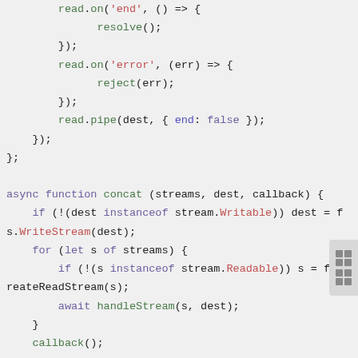Code snippet showing JavaScript async stream handling with read.on('end'), read.on('error'), read.pipe(), and async function concat(streams, dest, callback)